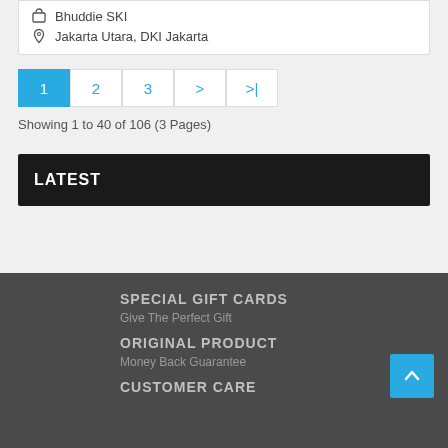Bhuddie SKI
Jakarta Utara, DKI Jakarta
1  2  3  >  >|
Showing 1 to 40 of 106 (3 Pages)
LATEST
SPECIAL GIFT CARDS
Give The Perfect Gift
ORIGINAL PRODUCT
Money Back Guarantee
CUSTOMER CARE